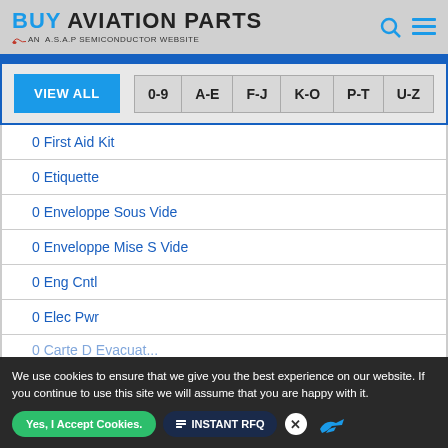BUY AVIATION PARTS — AN A.S.A.P SEMICONDUCTOR WEBSITE
0 First Aid Kit
0 Etiquette
0 Enveloppe Sous Vide
0 Enveloppe Mise S Vide
0 Eng Cntl
0 Elec Pwr
0 Carte D Evacuat...
We use cookies to ensure that we give you the best experience on our website. If you continue to use this site we will assume that you are happy with it.